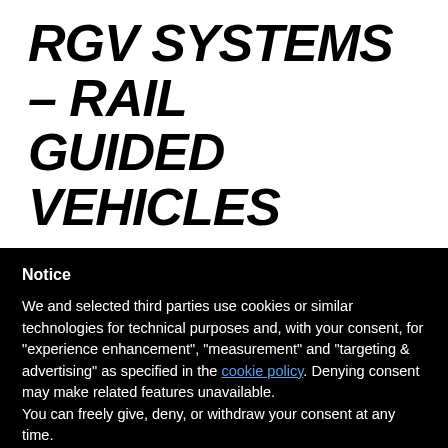RGV SYSTEMS – RAIL GUIDED VEHICLES
Notice
We and selected third parties use cookies or similar technologies for technical purposes and, with your consent, for "experience enhancement", "measurement" and "targeting & advertising" as specified in the cookie policy. Denying consent may make related features unavailable.
You can freely give, deny, or withdraw your consent at any time.
Reject
Accept
Learn more and customize